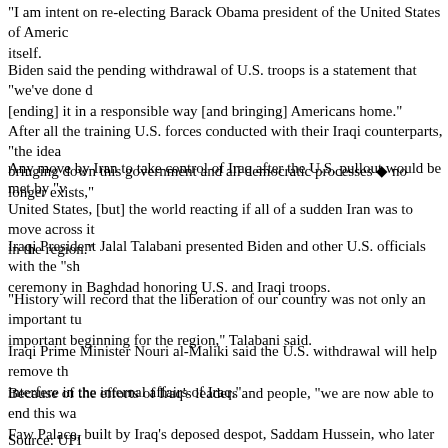"I am intent on re-electing Barack Obama president of the United States of America itself.
Biden said the pending withdrawal of U.S. troops is a statement that "we've done [ending] it in a responsible way [and bringing] Americans home." After all the training U.S. forces conducted with their Iraqi counterparts, "the idea bringing down this government and all democratic processes ◆ no longer exists,"
Any move by Iran to take control of Iraq after the U.S. pullout would be met by "v United States, [but] the world reacting if all of a sudden Iran was to move across it in the region."
Iraqi President Jalal Talabani presented Biden and other U.S. officials with the "sh ceremony in Baghdad honoring U.S. and Iraqi troops.
"History will record that the liberation of our country was not only an important tu important beginning for the region," Talabani said.
Iraqi Prime Minister Nouri al-Maliki said the U.S. withdrawal will help remove th interfere in the internal affairs of Iraq."
Because of the efforts of Iraq's leaders and people, "we are now able to end this wa Faw Palace, built by Iraq's deposed despot, Saddam Hussein, who later was execu
Source: UPI